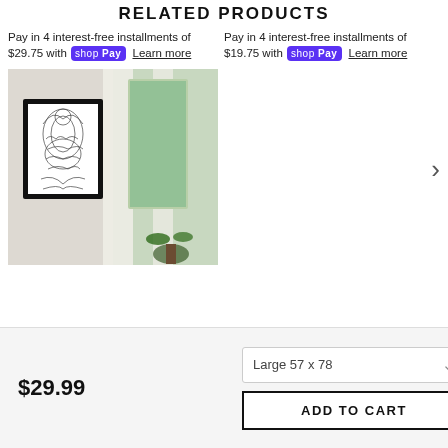RELATED PRODUCTS
Pay in 4 interest-free installments of $29.75 with shop Pay Learn more
Pay in 4 interest-free installments of $19.75 with shop Pay Learn more
[Figure (photo): Framed black and white artwork on a wall in a bright room with curtains and a plant]
$29.99
Large 57 x 78
ADD TO CART